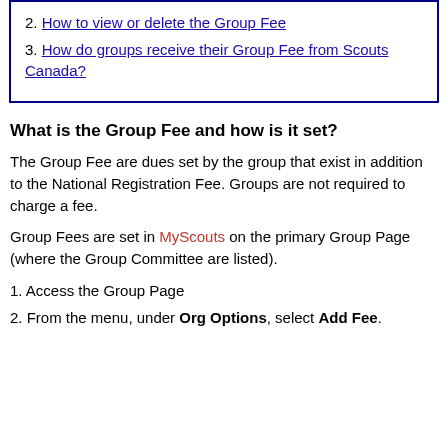2. How to view or delete the Group Fee
3. How do groups receive their Group Fee from Scouts Canada?
What is the Group Fee and how is it set?
The Group Fee are dues set by the group that exist in addition to the National Registration Fee. Groups are not required to charge a fee.
Group Fees are set in MyScouts on the primary Group Page (where the Group Committee are listed).
1. Access the Group Page
2. From the menu, under Org Options, select Add Fee.